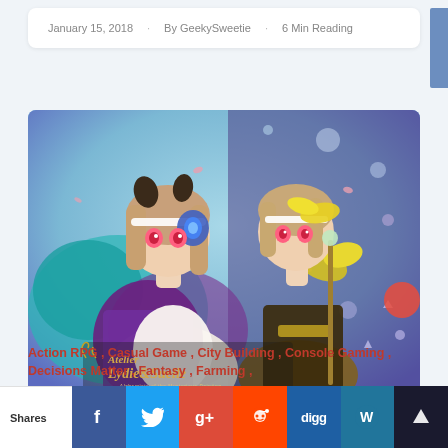January 15, 2018   By GeekySweetie   6 Min Reading
[Figure (illustration): Anime-style illustration for Atelier Lydie & Suelle game, showing two young female characters in fantasy maid-style outfits against a purple and teal magical background, with the game logo visible.]
Action RPG , Casual Game , City Building , Console Gaming , Decisions Matter , Fantasy , Farming ,
Shares